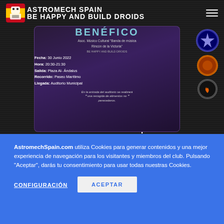ASTROMECH SPAIN
[Figure (photo): Event poster for a charity parade (Desfile Benéfico) organized by Asoc. Músico Cultural 'Banda de música Rincón de la Victoria'. Details: Fecha: 30 Junio 2022, Hora: 20:30-21:30, Salida: Plaza Al-Ándalus, Recorrido: Paseo Marítimo, Llegada: Auditorio Municipal. Note about food collection at the auditorium entrance. Purple/dark background with Star Wars badges on the right.]
Desfile a favor de Papilio (2022)
AstromechSpain.com utiliza Cookies para generar contenidos y una mejor experiencia de navegación para los visitantes y miembros del club. Pulsando "Aceptar", darás tu consentimiento para usar todas nuestras Cookies.
CONFIGURACIÓN
ACEPTAR